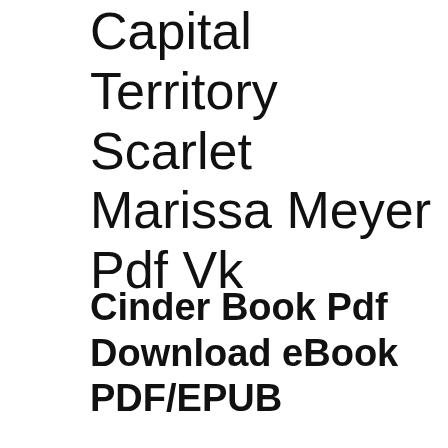Capital Territory Scarlet Marissa Meyer Pdf Vk
Cinder Book Pdf Download eBook PDF/EPUB
[Figure (screenshot): YouTube video thumbnail showing 'Reseña| The Program| E&P' with a channel avatar, the text 'THE PROGRAM' watermarked across the center, decorative floral element bottom left, and silhouettes of people at bottom.]